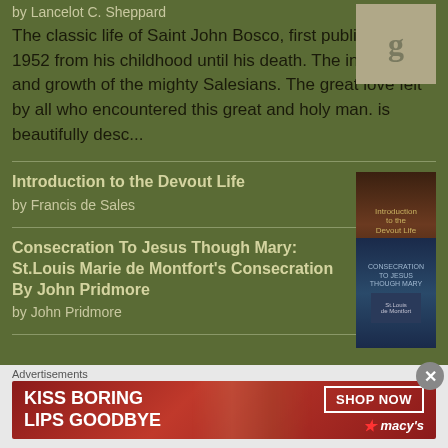by Lancelot C. Sheppard
The classic life of Saint John Bosco, first published in 1952 from his childhood until his death. The institution and growth of the mighty Salesians. The great love felt by all who encountered this great and holy man. is beautifully desc...
Introduction to the Devout Life
by Francis de Sales
Consecration To Jesus Though Mary: St.Louis Marie de Montfort's Consecration By John Pridmore
by John Pridmore
Advertisements
[Figure (screenshot): Macy's advertisement banner: KISS BORING LIPS GOODBYE with SHOP NOW button and Macy's star logo]